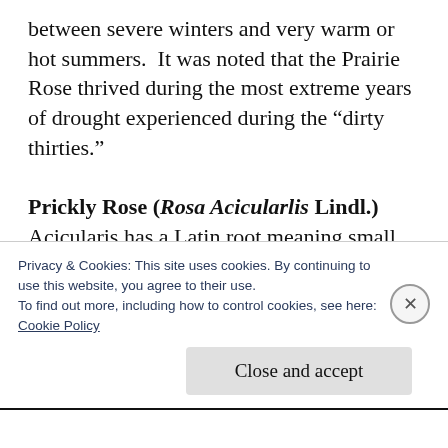between severe winters and very warm or hot summers.  It was noted that the Prairie Rose thrived during the most extreme years of drought experienced during the “dirty thirties.”
Prickly Rose (Rosa Acicularlis Lindl.)  Acicularis has a Latin root meaning small pin or needle. The prickly rose is just that, densely prickled with straight weak thorns or bristles. The prickly rose defence of thorns prevent over-
Privacy & Cookies: This site uses cookies. By continuing to use this website, you agree to their use.
To find out more, including how to control cookies, see here:
Cookie Policy
Close and accept